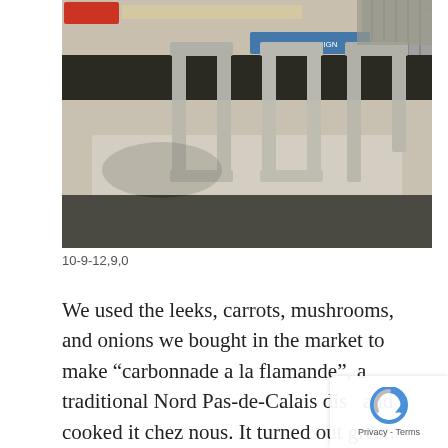[Figure (photo): Outdoor street scene showing concrete frames/stands on gravel ground with dark asphalt visible, some colorful signs in the background.]
10-9-12,9,0
We used the leeks, carrots, mushrooms, and onions we bought in the market to make “carbonnade a la flamande”, a traditional Nord Pas-de-Calais dish and cooked it chez nous. It turned out great. H the recipe we used: